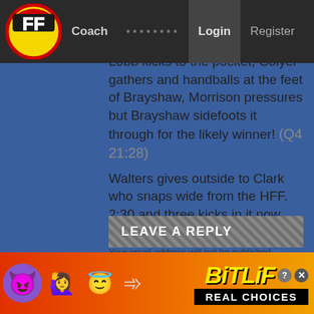FF Coach ........ Login Register
has enough petrol tickets to get over the line? (Q4 20:08)
Lobb kicks to the pocket, Colyer gathers and handballs at the feet of Brayshaw, Morrison pressures but Brayshaw sidefoots it through for the likely winner! (Q4 21:28)
Walters gives outside to Clark who snaps wide from the HFF. 2:30 and three kicks in it now, Hawks are done. (Q4 25:11)
LEAVE A REPLY
Your email address will not be published. Required fields
[Figure (photo): BitLife advertisement banner with emojis (devil, woman, angel/wink face) and sperm icon, with text REAL CHOICES]